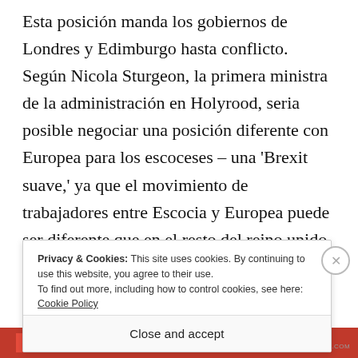Esta posición manda los gobiernos de Londres y Edimburgo hasta conflicto. Según Nicola Sturgeon, la primera ministra de la administración en Holyrood, seria posible negociar una posición diferente con Europea para los escoceses – una 'Brexit suave,' ya que el movimiento de trabajadores entre Escocia y Europea puede ser diferente que en el resto del reino unido. No es claro que piensa los lideres
Privacy & Cookies: This site uses cookies. By continuing to use this website, you agree to their use. To find out more, including how to control cookies, see here: Cookie Policy
Close and accept